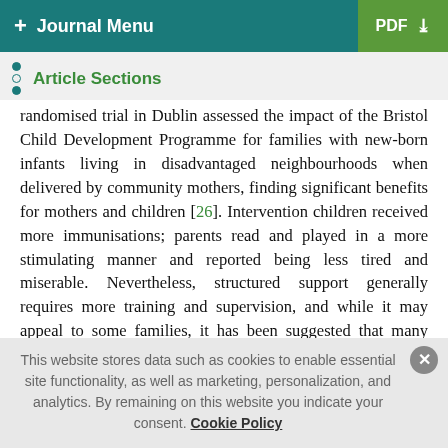+ Journal Menu   PDF ↓
Article Sections
randomised trial in Dublin assessed the impact of the Bristol Child Development Programme for families with new-born infants living in disadvantaged neighbourhoods when delivered by community mothers, finding significant benefits for mothers and children [26]. Intervention children received more immunisations; parents read and played in a more stimulating manner and reported being less tired and miserable. Nevertheless, structured support generally requires more training and supervision, and while it may appeal to some families, it has been suggested that many mothers may respond better to support that is more flexible and acknowledge their own expertise [27, 2
This website stores data such as cookies to enable essential site functionality, as well as marketing, personalization, and analytics. By remaining on this website you indicate your consent. Cookie Policy